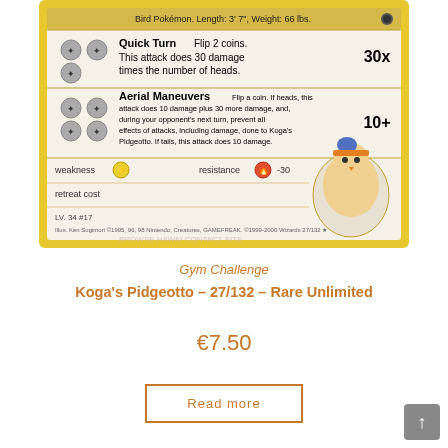[Figure (photo): Pokemon trading card – Koga's Pidgeotto 27/132 from Gym Challenge set. Shows the bottom portion of the card with attacks Quick Turn (30x damage, flip 2 coins) and Aerial Maneuvers (10+ damage, flip a coin), weakness, resistance -30, retreat cost, card number 27/132 Rare, illustrated by Ken Sugimori.]
Gym Challenge
Koga's Pidgeotto – 27/132 – Rare Unlimited
€7.50
Read more